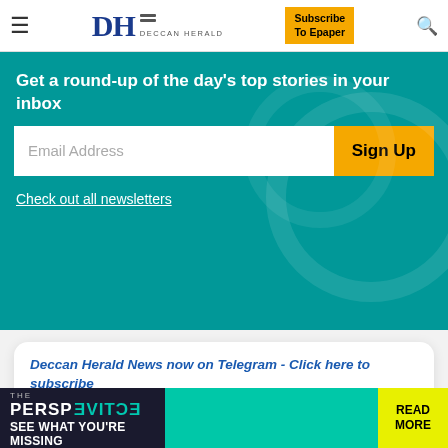DH DECCAN HERALD | Subscribe To Epaper
Get a round-up of the day's top stories in your inbox
Email Address
Sign Up
Check out all newsletters
Deccan Herald News now on Telegram - Click here to subscribe
Follow us on Facebook / Twitter / Dailymotion / YouTube
Sri Shankara Cancer Foundation
Subroto Bagchi
[Figure (screenshot): THE PERSPECTIVE advertisement banner - 'SEE WHAT YOU'RE MISSING' with READ MORE button]